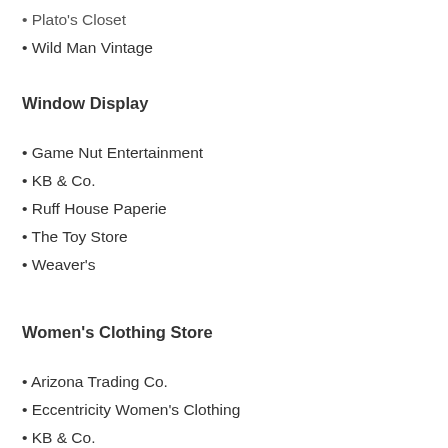• Plato's Closet
• Wild Man Vintage
Window Display
• Game Nut Entertainment
• KB & Co.
• Ruff House Paperie
• The Toy Store
• Weaver's
Women's Clothing Store
• Arizona Trading Co.
• Eccentricity Women's Clothing
• KB & Co.
• Kohl's
• Weaver's